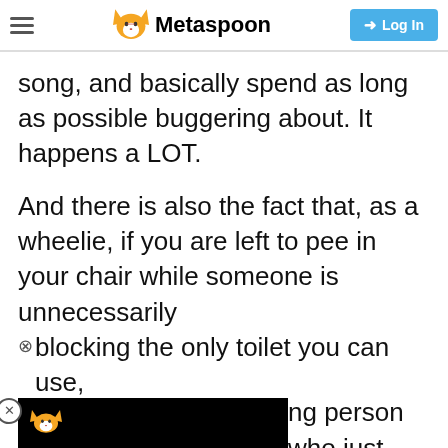Metaspoon
song, and basically spend as long as possible buggering about. It happens a LOT.
And there is also the fact that, as a wheelie, if you are left to pee in your chair while someone is unnecessarily blocking the only toilet you can use, ng person who just clean clothes.
[Figure (other): Black overlay advertisement box with Metaspoon fox logo, partially covering the lower-left portion of the page]